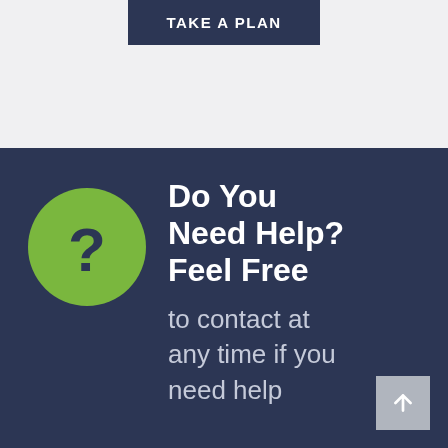TAKE A PLAN
[Figure (illustration): Green circle with a dark navy question mark inside, on a dark navy background]
Do You Need Help? Feel Free
to contact at any time if you need help